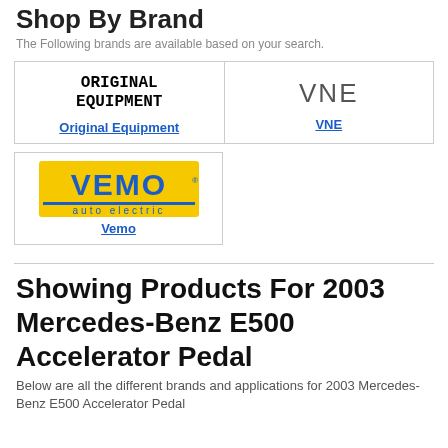Shop By Brand
The Following brands are available based on your search.
[Figure (logo): Original Equipment logo — bold serif/monospace text reading ORIGINAL EQUIPMENT]
[Figure (logo): VNE logo — large grey sans-serif letters]
[Figure (logo): Vemo auto electric logo — blue and yellow brand logo with VEMO in blue on yellow background and 'auto electric' text below]
Showing Products For 2003 Mercedes-Benz E500 Accelerator Pedal
Below are all the different brands and applications for 2003 Mercedes-Benz E500 Accelerator Pedal